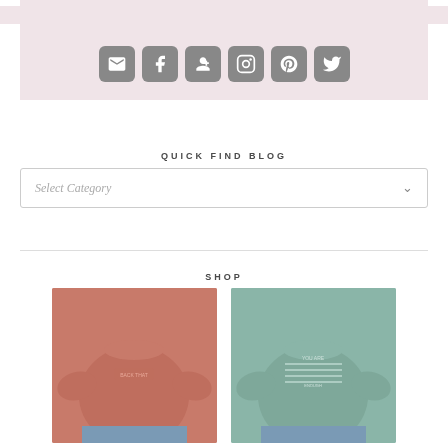GET SOCIAL
[Figure (infographic): Row of 6 social media icon buttons (email, Facebook, Google+, Instagram, Pinterest, Twitter) as rounded square grey buttons with white icons on a pink background]
QUICK FIND BLOG
[Figure (screenshot): A dropdown select box with placeholder text 'Select Category' and a chevron arrow on the right]
SHOP
[Figure (photo): Two cropped sweatshirts displayed side by side: left one is salmon/terracotta pink, right one is sage/mint green, both are crop-length]